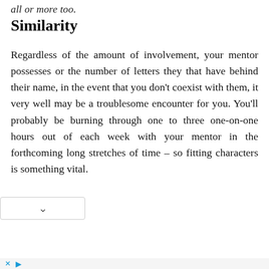all or more too.
Similarity
Regardless of the amount of involvement, your mentor possesses or the number of letters they that have behind their name, in the event that you don't coexist with them, it very well may be a troublesome encounter for you. You'll probably be burning through one to three one-on-one hours out of each week with your mentor in the forthcoming long stretches of time – so fitting characters is something vital.
[Figure (other): Advertisement banner for Men's Wearhouse featuring a couple in formal wear and a boy's suit priced at $69.99]